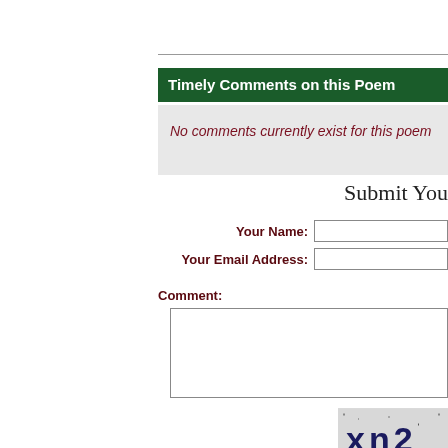Timely Comments on this Poem
No comments currently exist for this poem
Submit You
Your Name:
Your Email Address:
Comment:
[Figure (other): CAPTCHA image showing text 'xn2']
Please enter the code ab